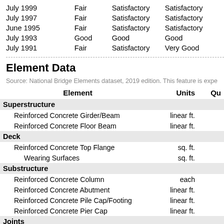|  |  |  |  |
| --- | --- | --- | --- |
| July 1999 | Fair | Satisfactory | Satisfactory |
| July 1997 | Fair | Satisfactory | Satisfactory |
| June 1995 | Fair | Satisfactory | Satisfactory |
| July 1993 | Good | Good | Good |
| July 1991 | Fair | Satisfactory | Very Good |
Element Data
Source: National Bridge Elements dataset, 2019 edition. This feature is expe
| Element | Units | Qu |
| --- | --- | --- |
| Superstructure |  |  |
| Reinforced Concrete Girder/Beam | linear ft. |  |
| Reinforced Concrete Floor Beam | linear ft. |  |
| Deck |  |  |
| Reinforced Concrete Top Flange | sq. ft. |  |
| Wearing Surfaces | sq. ft. |  |
| Substructure |  |  |
| Reinforced Concrete Column | each |  |
| Reinforced Concrete Abutment | linear ft. |  |
| Reinforced Concrete Pile Cap/Footing | linear ft. |  |
| Reinforced Concrete Pier Cap | linear ft. |  |
| Joints |  |  |
| Other Joint | linear ft. |  |